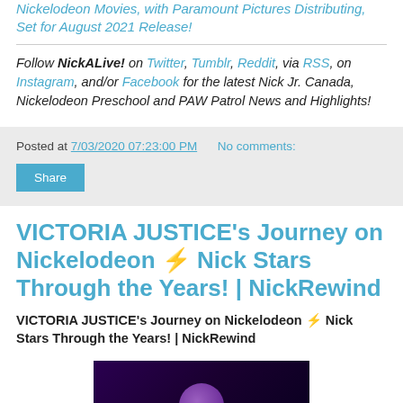Nickelodeon Movies, with Paramount Pictures Distributing, Set for August 2021 Release!
Follow NickALive! on Twitter, Tumblr, Reddit, via RSS, on Instagram, and/or Facebook for the latest Nick Jr. Canada, Nickelodeon Preschool and PAW Patrol News and Highlights!
Posted at 7/03/2020 07:23:00 PM   No comments:
Share
VICTORIA JUSTICE's Journey on Nickelodeon ⚡ Nick Stars Through the Years! | NickRewind
VICTORIA JUSTICE's Journey on Nickelodeon ⚡ Nick Stars Through the Years! | NickRewind
[Figure (photo): Video thumbnail showing a dark purple background with a partial circular figure at the bottom center]